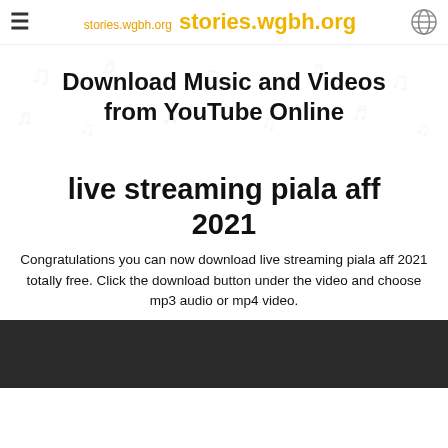stories.wgbh.org  stories.wgbh.org
Download Music and Videos from YouTube Online
live streaming piala aff 2021
Congratulations you can now download live streaming piala aff 2021 totally free. Click the download button under the video and choose mp3 audio or mp4 video.
[Figure (screenshot): Dark video thumbnail area at bottom of page]